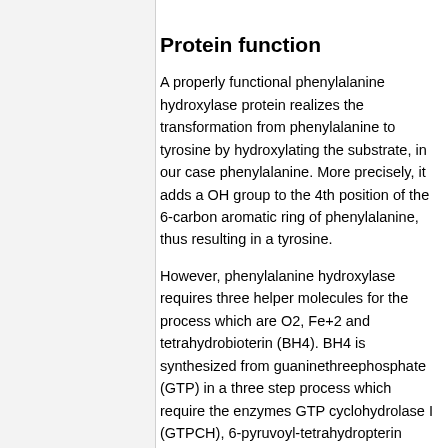Protein function
A properly functional phenylalanine hydroxylase protein realizes the transformation from phenylalanine to tyrosine by hydroxylating the substrate, in our case phenylalanine. More precisely, it adds a OH group to the 4th position of the 6-carbon aromatic ring of phenylalanine, thus resulting in a tyrosine.
However, phenylalanine hydroxylase requires three helper molecules for the process which are O2, Fe+2 and tetrahydrobioterin (BH4). BH4 is synthesized from guaninethreephosphate (GTP) in a three step process which require the enzymes GTP cyclohydrolase I (GTPCH), 6-pyruvoyl-tetrahydropterin synthase (PTPS) and sepiapterin reductase (SR). During the hydroxylating process of phenylalanine to tyrosine the molecule BH4 is consumed and has to be recycled in order to be reused again in another hydroxylating process. This